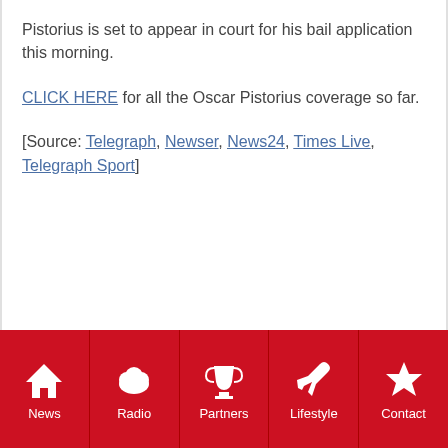Pistorius is set to appear in court for his bail application this morning.
CLICK HERE for all the Oscar Pistorius coverage so far.
[Source: Telegraph, Newser, News24, Times Live, Telegraph Sport]
News | Radio | Partners | Lifestyle | Contact